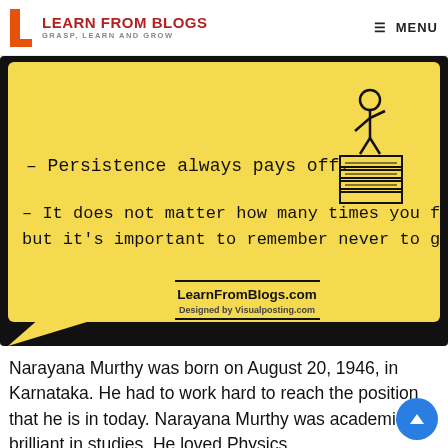LEARN FROM BLOGS — GRASP, LEARN AND GROW | MENU
[Figure (infographic): Yellow speech-bubble infographic with handwritten-style text: '– Persistence always pays off.' and '– It does not matter how many times you fail, but it's important to remember never to give up.' With an illustration of a person on a podium. Branded with LearnFromBlogs.com and Designed by Visualposting.com]
Narayana Murthy was born on August 20, 1946, in Karnataka. He had to work hard to reach the position that he is in today. Narayana Murthy was academically brilliant in studies. He loved Physics